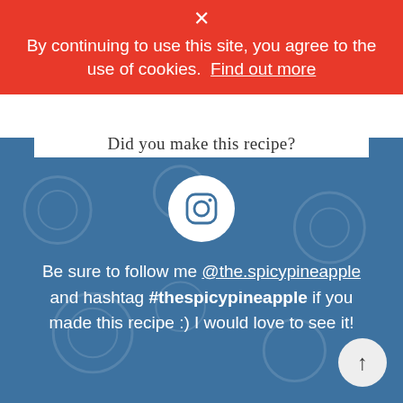× By continuing to use this site, you agree to the use of cookies. Find out more
Did you make this recipe?
[Figure (logo): Instagram logo icon inside a white circle on a blue background]
Be sure to follow me @the.spicypineapple and hashtag #thespicypineapple if you made this recipe :) I would love to see it!